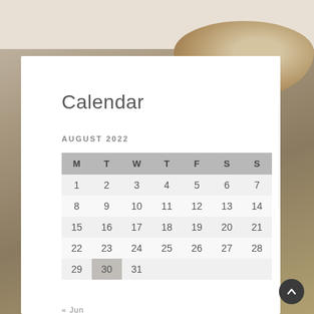[Figure (photo): Food photography background with a bowl of dessert visible in upper right, warm brown and grey tones]
Calendar
AUGUST 2022
| M | T | W | T | F | S | S |
| --- | --- | --- | --- | --- | --- | --- |
| 1 | 2 | 3 | 4 | 5 | 6 | 7 |
| 8 | 9 | 10 | 11 | 12 | 13 | 14 |
| 15 | 16 | 17 | 18 | 19 | 20 | 21 |
| 22 | 23 | 24 | 25 | 26 | 27 | 28 |
| 29 | 30 | 31 |  |  |  |  |
« Jun